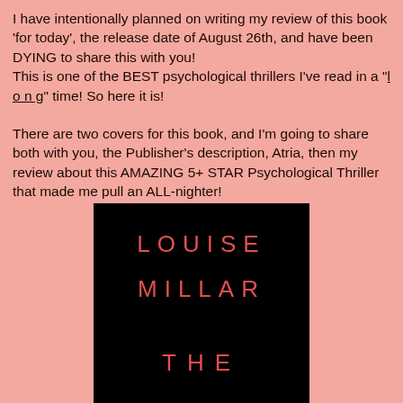I have intentionally planned on writing my review of this book 'for today', the release date of August 26th, and have been DYING to share this with you!
This is one of the BEST psychological thrillers I've read in a "l o n g" time! So here it is!
There are two covers for this book, and I'm going to share both with you, the Publisher's description, Atria, then my review about this AMAZING 5+ STAR Psychological Thriller that made me pull an ALL-nighter!
[Figure (illustration): Black book cover showing author name LOUISE MILLAR in red spaced lettering, and the beginning of a title THE in red spaced lettering at the bottom]